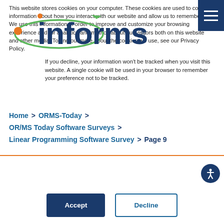[Figure (logo): INFORMS logo with orange dot, green arrow, and dark blue text]
Home > ORMS-Today > OR/MS Today Software Surveys > Linear Programming Software Survey > Page 9
This website stores cookies on your computer. These cookies are used to collect information about how you interact with our website and allow us to remember you. We use this information in order to improve and customize your browsing experience and for analytics and metrics about our visitors both on this website and other media. To find out more about the cookies we use, see our Privacy Policy.
If you decline, your information won't be tracked when you visit this website. A single cookie will be used in your browser to remember your preference not to be tracked.